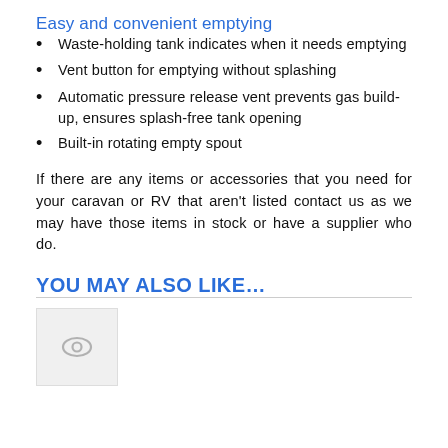Easy and convenient emptying
Waste-holding tank indicates when it needs emptying
Vent button for emptying without splashing
Automatic pressure release vent prevents gas build-up, ensures splash-free tank opening
Built-in rotating empty spout
If there are any items or accessories that you need for your caravan or RV that aren’t listed contact us as we may have those items in stock or have a supplier who do.
YOU MAY ALSO LIKE…
[Figure (other): Placeholder image with eye icon]